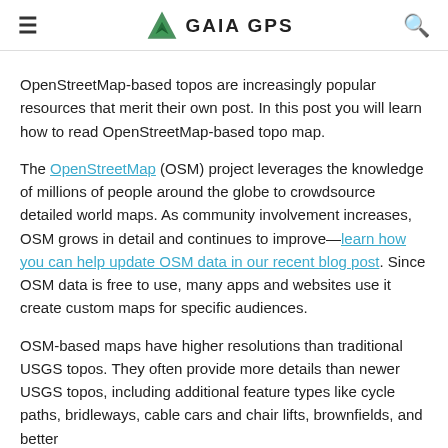≡  GAIA GPS  🔍
OpenStreetMap-based topos are increasingly popular resources that merit their own post. In this post you will learn how to read OpenStreetMap-based topo map.
The OpenStreetMap (OSM) project leverages the knowledge of millions of people around the globe to crowdsource detailed world maps. As community involvement increases, OSM grows in detail and continues to improve—learn how you can help update OSM data in our recent blog post. Since OSM data is free to use, many apps and websites use it create custom maps for specific audiences.
OSM-based maps have higher resolutions than traditional USGS topos. They often provide more details than newer USGS topos, including additional feature types like cycle paths, bridleways, cable cars and chair lifts, brownfields, and better